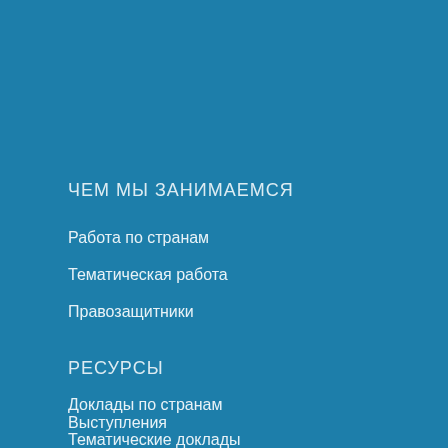ЧЕМ МЫ ЗАНИМАЕМСЯ
Работа по странам
Тематическая работа
Правозащитники
РЕСУРСЫ
Доклады по странам
Выступления
Тематические доклады